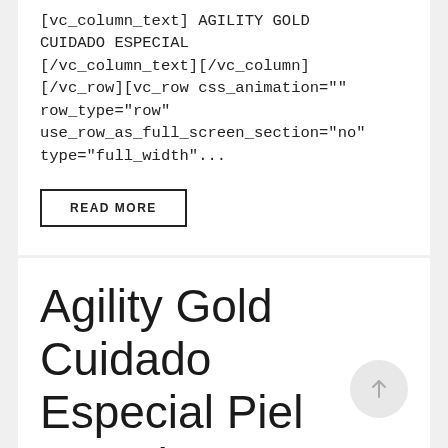[vc_column_text] AGILITY GOLD CUIDADO ESPECIAL [/vc_column_text][/vc_column][/vc_row][vc_row css_animation="" row_type="row" use_row_as_full_screen_section="no" type="full_width"...
READ MORE
Agility Gold Cuidado Especial Piel Grandes Adultos